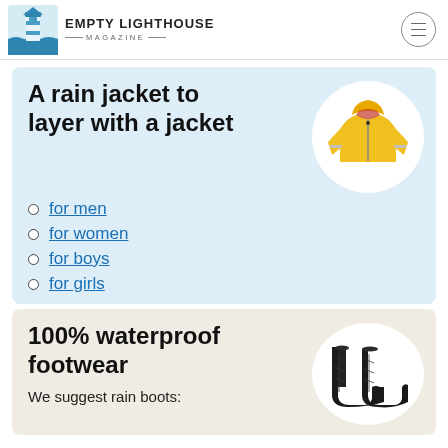EMPTY LIGHTHOUSE MAGAZINE
A rain jacket to layer with a jacket
[Figure (photo): Yellow children's rain jacket with hood and reflective strips on white oval background]
for men
for women
for boys
for girls
100% waterproof footwear
[Figure (photo): Pair of black quilted rain boots on white oval background]
We suggest rain boots: